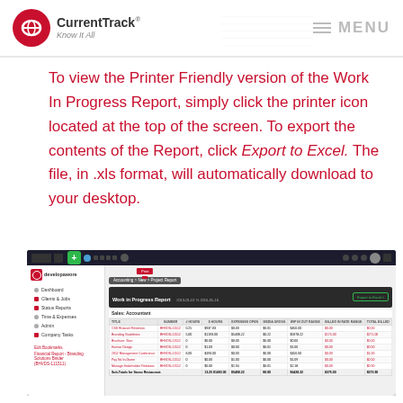[Figure (screenshot): CurrentTrack application header with logo and MENU navigation, showing a faded screenshot of a report table at the top of the page]
To view the Printer Friendly version of the Work In Progress Report, simply click the printer icon located at the top of the screen. To export the contents of the Report, click Export to Excel. The file, in .xls format, will automatically download to your desktop.
[Figure (screenshot): Screenshot of CurrentTrack Work In Progress Report showing developawore client data with a table of jobs including columns for TITLE, NUMBER, # HOURS, $ HOURS, EXPENSES OPEN, MEDIA GROSS, WIP IN/OUT RANGE, BILLED IN RATE RANGE, TOTAL BILLED. The report header has a Print tooltip and Export to Excel button. Sub-total row shows 13.25 $1493.00 $5408.22 $0.00 $6428.22 $275.00 $275.90]